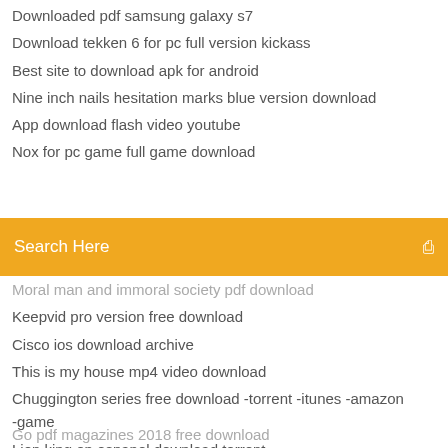Downloaded pdf samsung galaxy s7
Download tekken 6 for pc full version kickass
Best site to download apk for android
Nine inch nails hesitation marks blue version download
App download flash video youtube
Nox for pc game full game download
Search Here
Moral man and immoral society pdf download
Keepvid pro version free download
Cisco ios download archive
This is my house mp4 video download
Chuggington series free download -torrent -itunes -amazon -game
Lion king en espanol download torrent
Pacific gunner full version free download
Download music from bandcamp app
Gv aview download for pc
Go pdf magazines 2018 free download